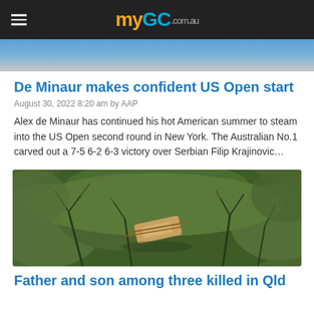myGC.com.au
[Figure (photo): Partial view of a sports photo, blue tones, likely tennis-related]
De Minaur makes confident US Open start
August 30, 2022 8:20 am by AAP
Alex de Minaur has continued his hot American summer to steam into the US Open second round in New York. The Australian No.1 carved out a 7-5 6-2 6-3 victory over Serbian Filip Krajinovic…
[Figure (photo): Aerial or landscape photo showing what appears to be wreckage or debris among trees/bushland]
Father and son among three killed in Qld